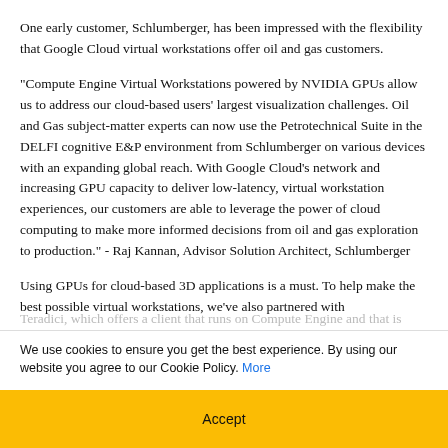One early customer, Schlumberger, has been impressed with the flexibility that Google Cloud virtual workstations offer oil and gas customers.
"Compute Engine Virtual Workstations powered by NVIDIA GPUs allow us to address our cloud-based users' largest visualization challenges. Oil and Gas subject-matter experts can now use the Petrotechnical Suite in the DELFI cognitive E&P environment from Schlumberger on various devices with an expanding global reach. With Google Cloud's network and increasing GPU capacity to deliver low-latency, virtual workstation experiences, our customers are able to leverage the power of cloud computing to make more informed decisions from oil and gas exploration to production." - Raj Kannan, Advisor Solution Architect, Schlumberger
Using GPUs for cloud-based 3D applications is a must. To help make the best possible virtual workstations, we've also partnered with Teradici, which offers a client that runs on Compute Engine and that is
We use cookies to ensure you get the best experience. By using our website you agree to our Cookie Policy. More
Accept